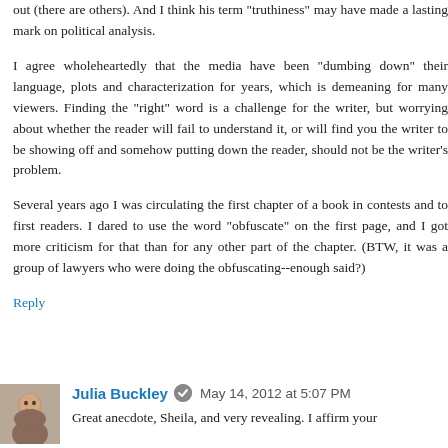out (there are others). And I think his term "truthiness" may have made a lasting mark on political analysis.
I agree wholeheartedly that the media have been "dumbing down" their language, plots and characterization for years, which is demeaning for many viewers. Finding the "right" word is a challenge for the writer, but worrying about whether the reader will fail to understand it, or will find you the writer to be showing off and somehow putting down the reader, should not be the writer's problem.
Several years ago I was circulating the first chapter of a book in contests and to first readers. I dared to use the word "obfuscate" on the first page, and I got more criticism for that than for any other part of the chapter. (BTW, it was a group of lawyers who were doing the obfuscating--enough said?)
Reply
Julia Buckley · May 14, 2012 at 5:07 PM
Great anecdote, Sheila, and very revealing. I affirm your